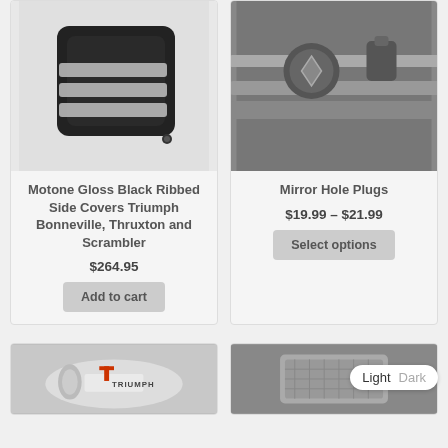[Figure (photo): Black ribbed side cover motorcycle part on white background]
Motone Gloss Black Ribbed Side Covers Triumph Bonneville, Thruxton and Scrambler
$264.95
Add to cart
[Figure (photo): Close-up of motorcycle handlebars and controls]
Mirror Hole Plugs
$19.99 – $21.99
Select options
[Figure (photo): Triumph motorcycle tank with logo]
[Figure (photo): Motorcycle accessory item]